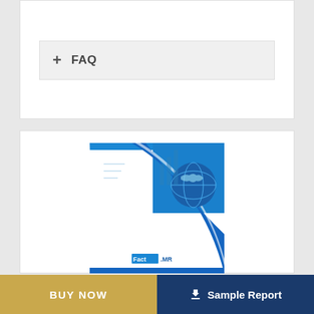+ FAQ
[Figure (illustration): Fact.MR market research report cover with blue globe and tech design]
Price: $4500
BUY NOW
Sample Report